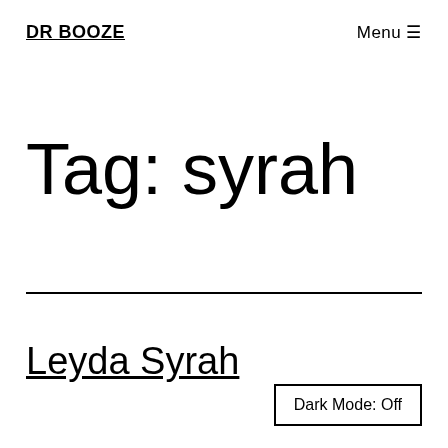DR BOOZE   Menu ≡
Tag: syrah
Leyda Syrah
Dark Mode: Off